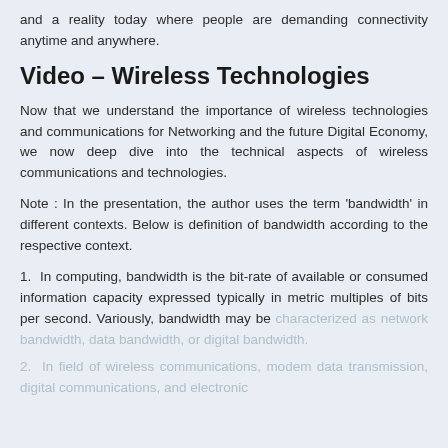and a reality today where people are demanding connectivity anytime and anywhere.
Video – Wireless Technologies
Now that we understand the importance of wireless technologies and communications for Networking and the future Digital Economy, we now deep dive into the technical aspects of wireless communications and technologies.
Note : In the presentation, the author uses the term 'bandwidth' in different contexts. Below is definition of bandwidth according to the respective context.
1.  In computing, bandwidth is the bit-rate of available or consumed information capacity expressed typically in metric multiples of bits per second. Variously, bandwidth may be characterized as network bandwidth, data bandwidth, or digital bandwidth.
2.  In field of wireless communications, modem data transmission, digital communications, and electronics…